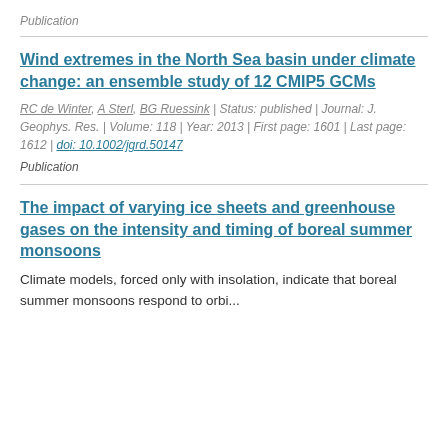Publication
Wind extremes in the North Sea basin under climate change: an ensemble study of 12 CMIP5 GCMs
RC de Winter, A Sterl, BG Ruessink | Status: published | Journal: J. Geophys. Res. | Volume: 118 | Year: 2013 | First page: 1601 | Last page: 1612 | doi: 10.1002/jgrd.50147
Publication
The impact of varying ice sheets and greenhouse gases on the intensity and timing of boreal summer monsoons
Climate models, forced only with insolation, indicate that boreal summer monsoons respond to orbi...